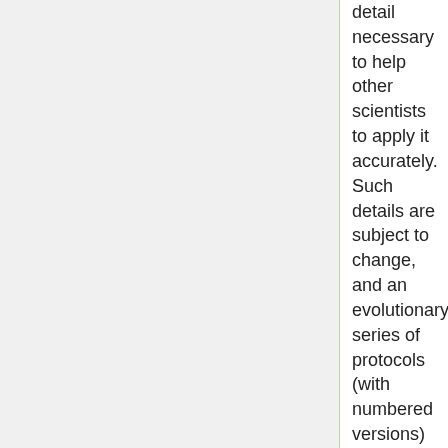detail necessary to help other scientists to apply it accurately. Such details are subject to change, and an evolutionary series of protocols (with numbered versions) is maintained up-to-date. By reference to the version of a published protocol, ambiguities as to the methodological details are eliminated.
2. A Review article does not age: